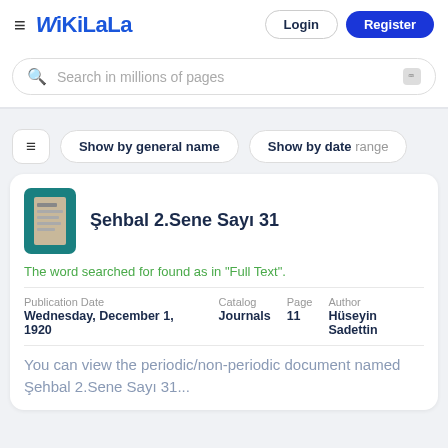WikiLala — Login | Register
Search in millions of pages
Show by general name  Show by date range
Şehbal 2.Sene Sayı 31
The word searched for found as in "Full Text".
Publication Date: Wednesday, December 1, 1920  Catalog: Journals  Page: 11  Author: Hüseyin Sadettin
You can view the periodic/non-periodic document named Şehbal 2.Sene Sayı 31...